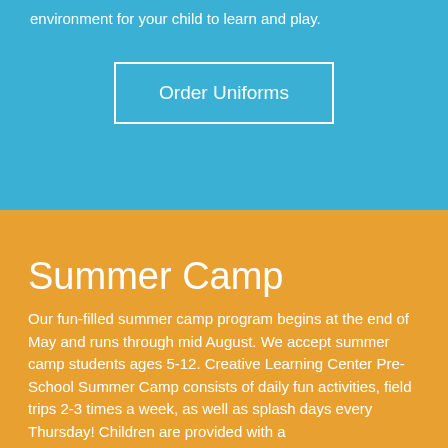environment for your child to learn and play.
Order Uniforms
Summer Camp
Our fun-filled summer camp program begins at the end of May and runs through mid August. We accept summer camp students ages 5-12. Creative Learning Center Pre- School Summer Camp consists of daily fun activities, field trips 2-3 times a week, as well as splash days every Thursday! Children are provided with a